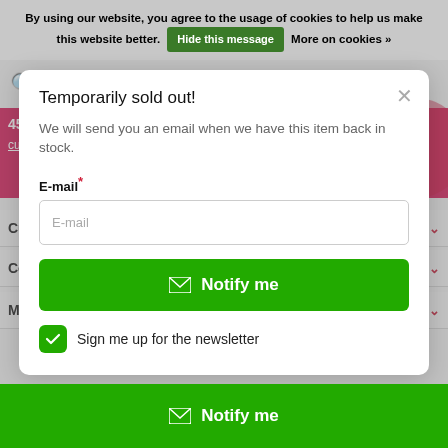By using our website, you agree to the usage of cookies to help us make this website better. Hide this message More on cookies »
Temporarily sold out!
We will send you an email when we have this item back in stock.
E-mail*
E-mail
Notify me
Sign me up for the newsletter
Notify me